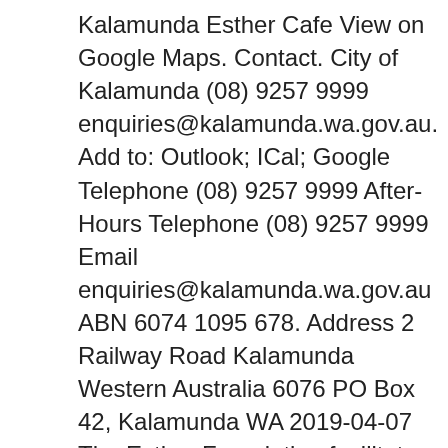Kalamunda Esther Cafe View on Google Maps. Contact. City of Kalamunda (08) 9257 9999 enquiries@kalamunda.wa.gov.au. Add to: Outlook; ICal; Google Telephone (08) 9257 9999 After-Hours Telephone (08) 9257 9999 Email enquiries@kalamunda.wa.gov.au ABN 6074 1095 678. Address 2 Railway Road Kalamunda Western Australia 6076 PO Box 42, Kalamunda WA 2019-04-07 The Esther Foundation facilitates an extensive and award winning young woman's residential health, development and leadership program which is now based in Kalamunda. The program provides intensive support for young women to be able to overcome life controlling struggles and issues in a safe, structured and supportive environment.